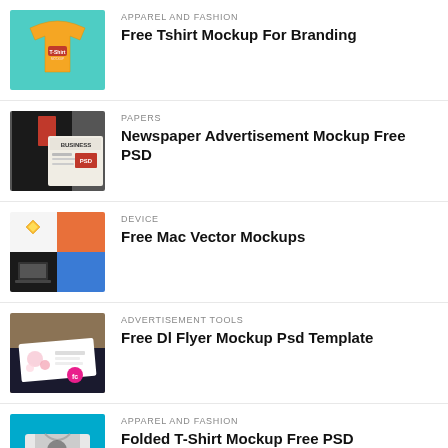APPAREL AND FASHION
Free Tshirt Mockup For Branding
PAPERS
Newspaper Advertisement Mockup Free PSD
DEVICE
Free Mac Vector Mockups
ADVERTISEMENT TOOLS
Free Dl Flyer Mockup Psd Template
APPAREL AND FASHION
Folded T-Shirt Mockup Free PSD